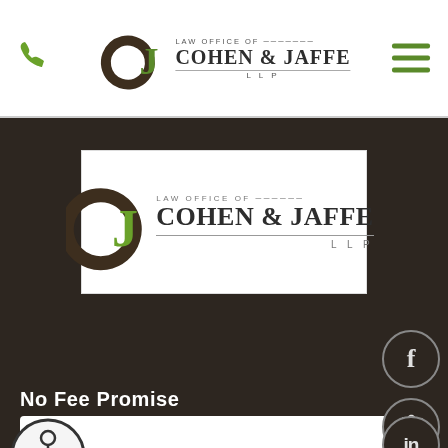[Figure (logo): Law Office of Cohen & Jaffe LLP logo in top navigation bar — monogram CJ with green and brown tones, text 'LAW OFFICE OF COHEN & JAFFE LLP']
[Figure (logo): Law Office of Cohen & Jaffe LLP logo centered on dark background — same branding, white box]
[Figure (infographic): Social media icons: Facebook (f), Twitter bird, LinkedIn (in) — circular bordered icons on dark background, right side]
No Fee Promise
[Figure (infographic): Accessibility icon — circular symbol with person figure, bottom left]